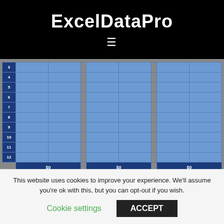ExcelDataPro
[Figure (screenshot): Spreadsheet table screenshot showing rows 3-12 with blue data cells divided into three column groups, each with a $0 total row at the bottom]
The prepayment table can be used later on during loan repayment. If you make any
This website uses cookies to improve your experience. We'll assume you're ok with this, but you can opt-out if you wish.
Cookie settings   ACCEPT